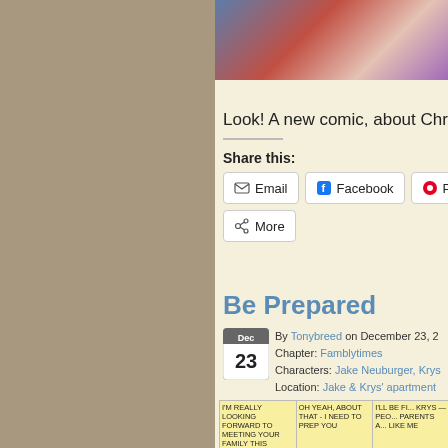[Figure (illustration): Top portion of a comic strip showing characters in colorful clothing, partially cropped]
Look! A new comic, about Christmas
Share this:
Email
Facebook
Pinter
More
Be Prepared
By Tonybreed on December 23, 2... Chapter: Famblytimes Characters: Jake Neuburger, Krys... Location: Jake & Krys' apartment...
[Figure (illustration): Bottom portion of a comic strip with speech bubbles: 'I'M REALLY LOOKING FORWARD TO MEETING YOUR FAMILY THIS WEEKEND', 'OH YEAH, ABOUT THAT - I NEED TO PREP YOU', 'I'LL BE FI... KRYS - PEO... PARENTS A... LIKE ME']